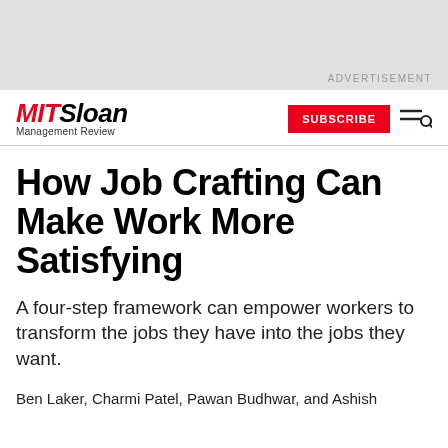[Figure (other): Gray advertisement banner at top of page with 'ADVERTISEMENT' text label]
MIT Sloan Management Review — navigation bar with SUBSCRIBE button and menu/search icon
How Job Crafting Can Make Work More Satisfying
A four-step framework can empower workers to transform the jobs they have into the jobs they want.
Ben Laker, Charmi Patel, Pawan Budhwar, and Ashish